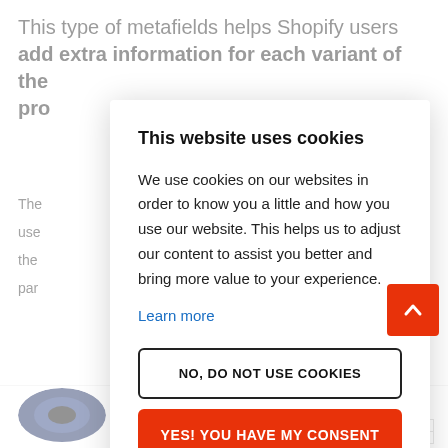This type of metafields helps Shopify users add extra information for each variant of the pro
The
use
the
par
[Figure (photo): Partial view of a circular product image, appears to be a wheel or tire with blue and black coloring]
This website uses cookies
We use cookies on our websites in order to know you a little and how you use our website. This helps us to adjust our content to assist you better and bring more value to your experience.
Learn more
NO, DO NOT USE COOKIES
YES! YOU HAVE MY CONSENT
Roll over image to zoom in
| Speeds | Color |
| --- | --- |
|  | Blue 750W (UL Model) |